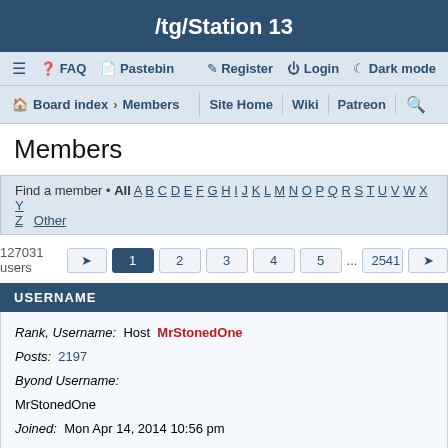/tg/Station 13
≡ FAQ Pastebin Register Login Dark mode
Board index › Members | Site Home Wiki Patreon
Members
Find a member • All A B C D E F G H I J K L M N O P Q R S T U V W X Y Z Other
127031 users  1 2 3 4 5 ... 2541
| USERNAME |
| --- |
| Rank, Username: Host MrStonedOne
Posts: 2197
Byond Username: MrStonedOne
Joined: Mon Apr 14, 2014 10:56 pm |
| Rank, Username: Site Admin Rockdtben
Posts: 128
Byond Username: |